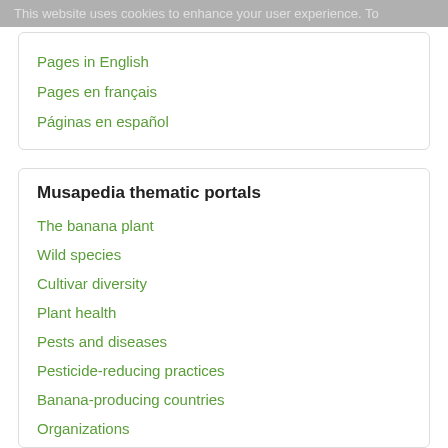This website uses cookies to enhance your user experience. To
Pages in English
Pages en français
Páginas en español
Musapedia thematic portals
The banana plant
Wild species
Cultivar diversity
Plant health
Pests and diseases
Pesticide-reducing practices
Banana-producing countries
Organizations
Musa Hall of Fame